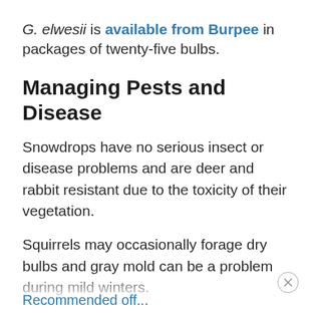G. elwesii is available from Burpee in packages of twenty-five bulbs.
Managing Pests and Disease
Snowdrops have no serious insect or disease problems and are deer and rabbit resistant due to the toxicity of their vegetation.
Squirrels may occasionally forage dry bulbs and gray mold can be a problem during mild winters.